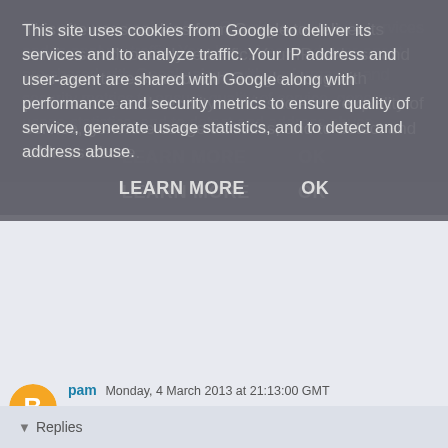This site uses cookies from Google to deliver its services and to analyze traffic. Your IP address and user-agent are shared with Google along with performance and security metrics to ensure quality of service, generate usage statistics, and to detect and address abuse.
LEARN MORE    OK
pam  Monday, 4 March 2013 at 21:13:00 GMT
2nd hand Pashley or second hand Dutchie?Got my eBay eye on both
Reply
Unknown  Wednesday, 31 July 2013 at 23:15:00 BST
Hello, I'm looking in to buying a Dutchie Dapper. Are you still enjoying the Dutchie?
Reply
▾  Replies